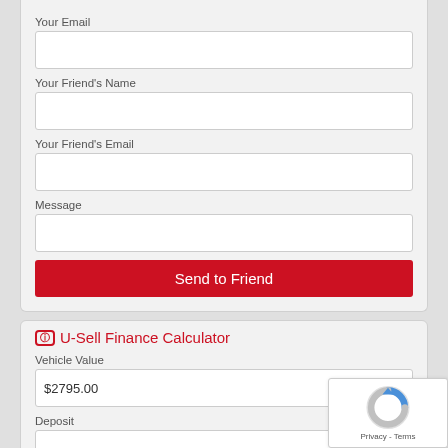Your Email
Your Friend's Name
Your Friend's Email
Message
Send to Friend
U-Sell Finance Calculator
Vehicle Value
$2795.00
Deposit